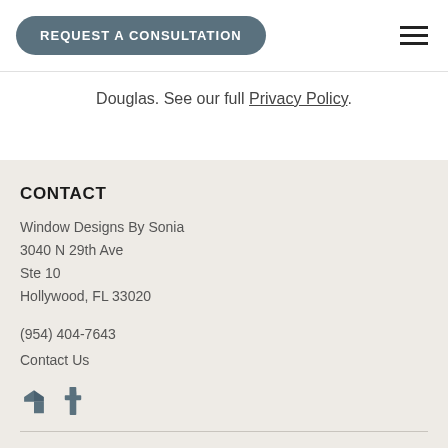REQUEST A CONSULTATION
Douglas. See our full Privacy Policy.
CONTACT
Window Designs By Sonia
3040 N 29th Ave
Ste 10
Hollywood, FL 33020
(954) 404-7643
Contact Us
[Figure (other): Social media icons: Houzz and Facebook]
HOURS